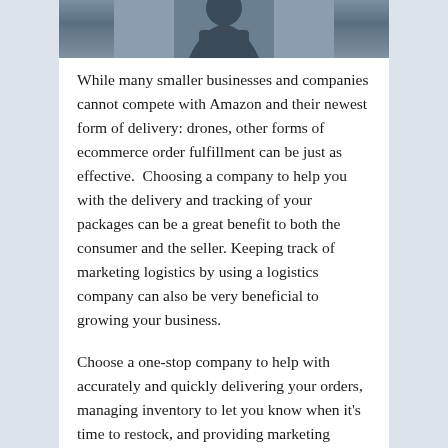[Figure (photo): Partial image of a person (appears to be a delivery worker or business person), cropped at the top of the page showing torso/upper body area against a muted background.]
While many smaller businesses and companies cannot compete with Amazon and their newest form of delivery: drones, other forms of ecommerce order fulfillment can be just as effective.  Choosing a company to help you with the delivery and tracking of your packages can be a great benefit to both the consumer and the seller. Keeping track of marketing logistics by using a logistics company can also be very beneficial to growing your business.
Choose a one-stop company to help with accurately and quickly delivering your orders, managing inventory to let you know when it's time to restock, and providing marketing logistics and organization.
Growing Your Ecommerce Order